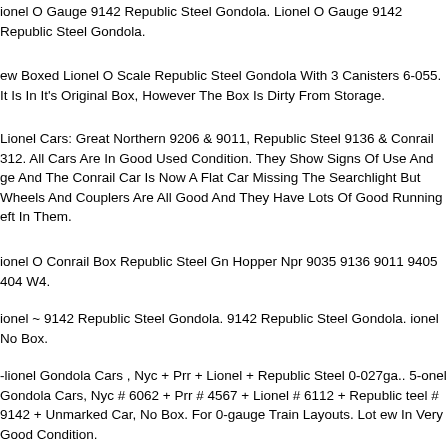Lionel O Gauge 9142 Republic Steel Gondola. Lionel O Gauge 9142 Republic Steel Gondola.
New Boxed Lionel O Scale Republic Steel Gondola With 3 Canisters 6-9055. It Is In It's Original Box, However The Box Is Dirty From Storage.
Lionel Cars: Great Northern 9206 & 9011, Republic Steel 9136 & Conrail 9312. All Cars Are In Good Used Condition. They Show Signs Of Use And Age And The Conrail Car Is Now A Flat Car Missing The Searchlight But Wheels And Couplers Are All Good And They Have Lots Of Good Running Left In Them.
Lionel O Conrail Box Republic Steel Gn Hopper Npr 9035 9136 9011 9405 9404 W4.
Lionel ~ 9142 Republic Steel Gondola. 9142 Republic Steel Gondola. Lionel No Box.
5-lionel Gondola Cars , Nyc + Prr + Lionel + Republic Steel 0-027ga.. 5-Lionel Gondola Cars, Nyc # 6062 + Prr # 4567 + Lionel # 6112 + Republic Steel # 9142 + Unmarked Car, No Box. For 0-gauge Train Layouts. Lot New In Very Good Condition.